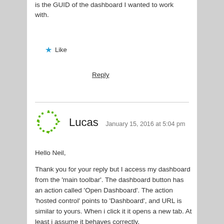is the GUID of the dashboard I wanted to work with.
★ Like
Reply
Lucas  January 15, 2016 at 5:04 pm
Hello Neil,
Thank you for your reply but I access my dashboard from the 'main toolbar'. The dashboard button has an action called 'Open Dashboard'. The action 'hosted control' points to 'Dashboard', and URL is similar to yours. When i click it it opens a new tab. At least i assume it behaves correctly.
Similar to your post where it opens up in a weird